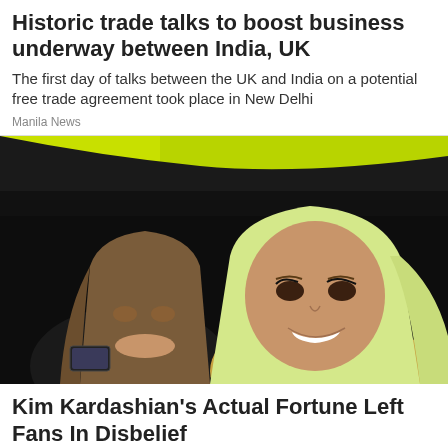Historic trade talks to boost business underway between India, UK
The first day of talks between the UK and India on a potential free trade agreement took place in New Delhi
Manila News
[Figure (photo): Two women sitting in a yellow car; one with platinum blonde hair smiling at camera, one with brown hair looking down at phone]
Kim Kardashian's Actual Fortune Left Fans In Disbelief